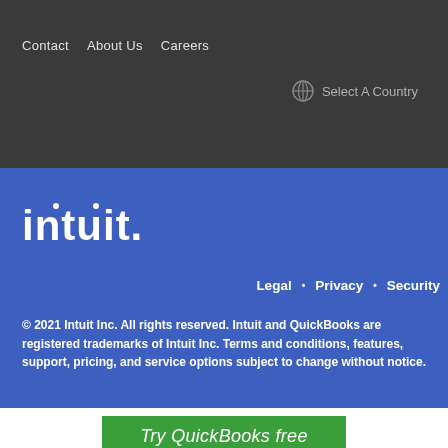Contact  About Us  Careers
Select A Country
[Figure (logo): Intuit logo in white on blue background]
Legal • Privacy • Security
© 2021 Intuit Inc. All rights reserved. Intuit and QuickBooks are registered trademarks of Intuit Inc. Terms and conditions, features, support, pricing, and service options subject to change without notice.
Try QuickBooks free